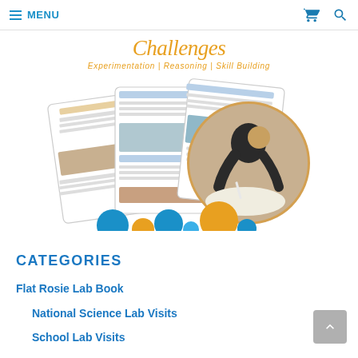≡ MENU
[Figure (illustration): Logo and hero image for 'Challenges: Experimentation | Reasoning | Skill Building' science education product, showing document pages collage and a student writing, with decorative colored circles]
CATEGORIES
Flat Rosie Lab Book
National Science Lab Visits
School Lab Visits